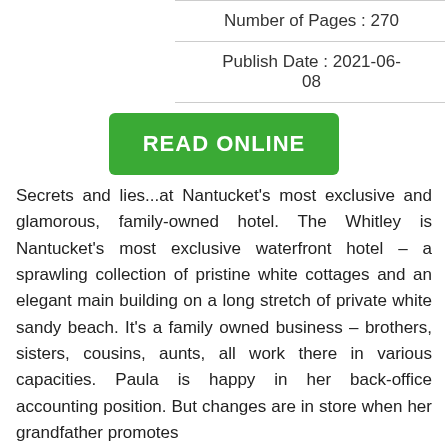Number of Pages : 270
Publish Date : 2021-06-08
[Figure (other): Green button labeled READ ONLINE]
Secrets and lies...at Nantucket's most exclusive and glamorous, family-owned hotel. The Whitley is Nantucket's most exclusive waterfront hotel – a sprawling collection of pristine white cottages and an elegant main building on a long stretch of private white sandy beach. It's a family owned business – brothers, sisters, cousins, aunts, all work there in various capacities. Paula is happy in her back-office accounting position. But changes are in store when her grandfather promotes